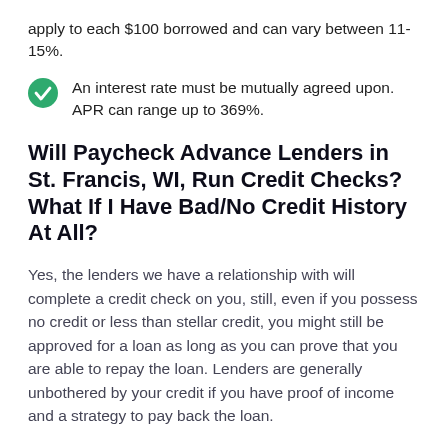apply to each $100 borrowed and can vary between 11-15%.
An interest rate must be mutually agreed upon. APR can range up to 369%.
Will Paycheck Advance Lenders in St. Francis, WI, Run Credit Checks? What If I Have Bad/No Credit History At All?
Yes, the lenders we have a relationship with will complete a credit check on you, still, even if you possess no credit or less than stellar credit, you might still be approved for a loan as long as you can prove that you are able to repay the loan. Lenders are generally unbothered by your credit if you have proof of income and a strategy to pay back the loan.